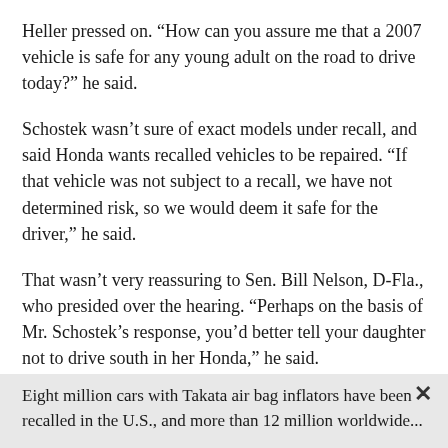Heller pressed on. “How can you assure me that a 2007 vehicle is safe for any young adult on the road to drive today?” he said.
Schostek wasn’t sure of exact models under recall, and said Honda wants recalled vehicles to be repaired. “If that vehicle was not subject to a recall, we have not determined risk, so we would deem it safe for the driver,” he said.
That wasn’t very reassuring to Sen. Bill Nelson, D-Fla., who presided over the hearing. “Perhaps on the basis of Mr. Schostek’s response, you’d better tell your daughter not to drive south in her Honda,” he said.
Eight million cars with Takata air bag inflators have been recalled in the U.S., and more than 12 million worldwide...